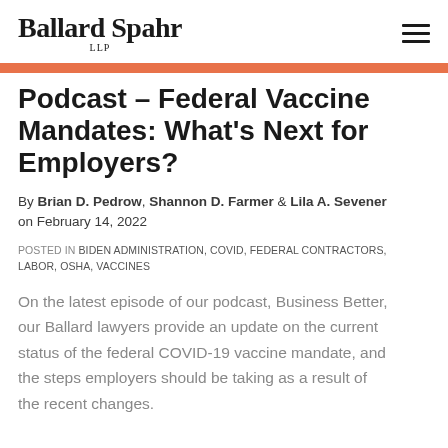Ballard Spahr LLP
Podcast – Federal Vaccine Mandates: What's Next for Employers?
By Brian D. Pedrow, Shannon D. Farmer & Lila A. Sevener on February 14, 2022
POSTED IN BIDEN ADMINISTRATION, COVID, FEDERAL CONTRACTORS, LABOR, OSHA, VACCINES
On the latest episode of our podcast, Business Better, our Ballard lawyers provide an update on the current status of the federal COVID-19 vaccine mandate, and the steps employers should be taking as a result of the recent changes.